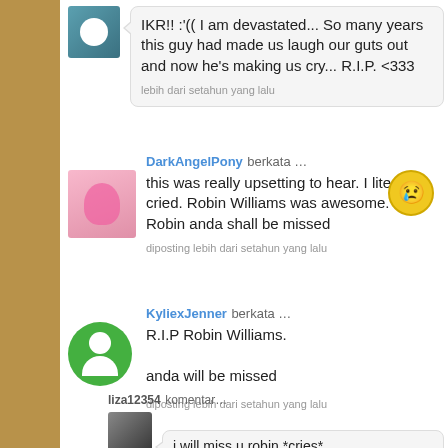[Figure (screenshot): Social media comment thread about Robin Williams' death, with user avatars and messages]
IKR!! :'(( I am devastated... So many years this guy had made us laugh our guts out and now he's making us cry... R.I.P. <333
lebih dari setahun yang lalu
DarkAngelPony berkata …
this was really upsetting to hear. I literally cried. Robin Williams was awesome. R.I.P. Robin anda shall be missed
diposting lebih dari setahun yang lalu
KyliexJenner berkata …
R.I.P Robin Williams.

anda will be missed
diposting lebih dari setahun yang lalu
liza12354 komentar…
i will miss u robin *cries*
lebih dari setahun yang lalu